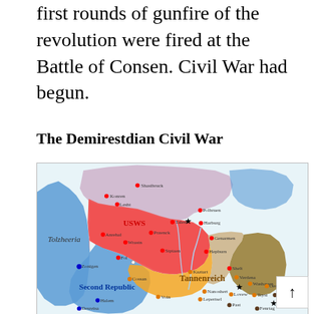first rounds of gunfire of the revolution were fired at the Battle of Consen. Civil War had begun.
The Demirestdian Civil War
[Figure (map): A color-coded map showing regions of the Demirestdian Civil War. The map shows several territories: USWS (red/pink region in the north), Tannenreich (orange region in the center), Second Republic (blue region in the southwest), and Tolzheeria (labeled on the left). Various cities are marked with colored dots including Konren, Shasibruck, Lesht, Polbruen, Talent, Harburg, Anrehal, Przenck, Genarmen, Wrastn, Stptaen, Hepburn, Fol, Zonigen, Shelt, Kaztart, Verdena, Cossan, Washaven, Oede, Nanoshert, Lovew, Tryst, Lepertsel, Past, Bremprau, Fenrtag, Voin, Halem, Desreisa. Black stars mark key cities including one near Talent/Polbruen area and one near Washaven and one near Bremprau.]